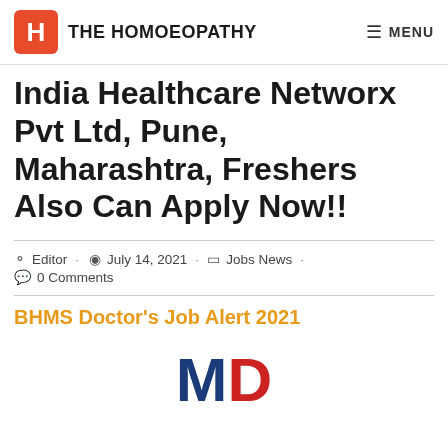THE HOMOEOPATHY  MENU
India Healthcare Networx Pvt Ltd, Pune, Maharashtra, Freshers Also Can Apply Now!!
Editor · July 14, 2021 · Jobs News · 0 Comments
BHMS Doctor's Job Alert 2021
[Figure (logo): MD logo text in dark blue and red large letters]